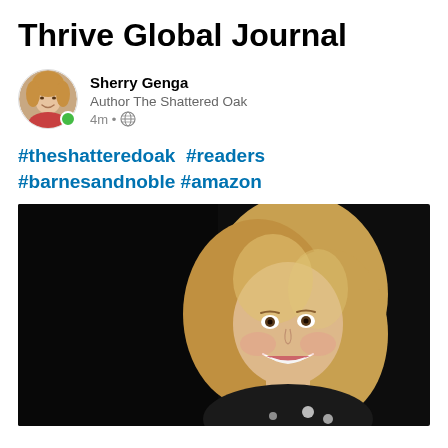Thrive Global Journal
Sherry Genga
Author The Shattered Oak
4m • 🌐
#theshatteredoak  #readers #barnesandnoble #amazon
[Figure (photo): Professional headshot of a woman with blonde hair smiling, against a dark background, wearing a black and white floral top]